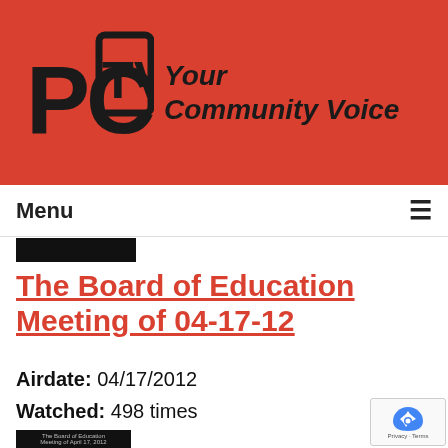[Figure (logo): PCTV logo with red background and 'Your Community Voice' tagline]
Menu ≡
The Board of Education Meeting of 04-17-12
Airdate: 04/17/2012
Watched: 498 times
[Figure (screenshot): Thumbnail image of The Board of Education Meeting video]